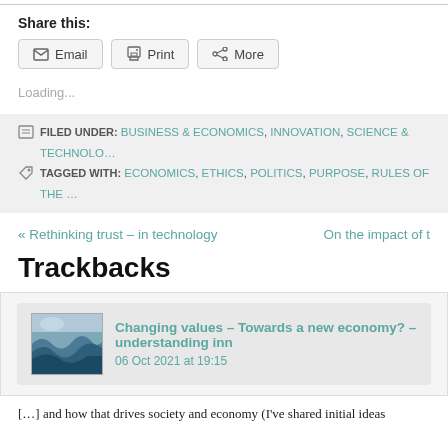Share this:
Email
Print
More
Loading...
FILED UNDER: BUSINESS & ECONOMICS, INNOVATION, SCIENCE & TECHNOLO…
TAGGED WITH: ECONOMICS, ETHICS, POLITICS, PURPOSE, RULES OF THE …
« Rethinking trust – in technology
On the impact of t
Trackbacks
[Figure (photo): Wave/ocean thumbnail image]
Changing values – Towards a new economy? – understanding inn
06 Oct 2021 at 19:15
[…] and how that drives society and economy (I've shared initial ideas